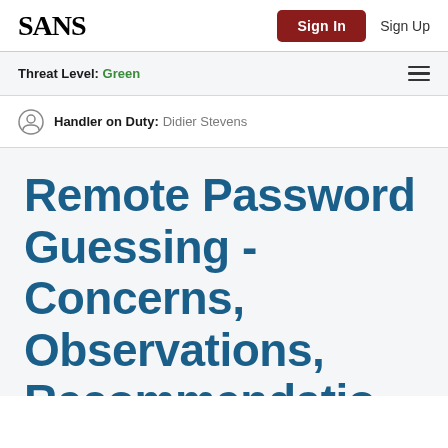SANS | Sign In | Sign Up
Threat Level: Green
Handler on Duty: Didier Stevens
Remote Password Guessing - Concerns, Observations, Recommendation